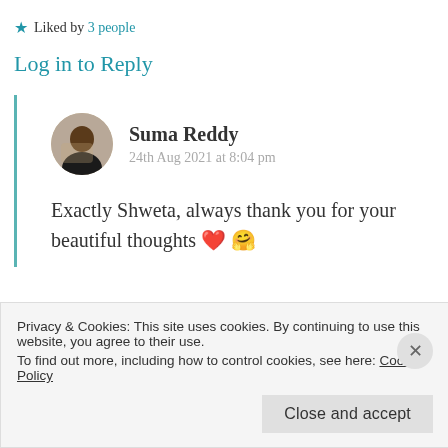★ Liked by 3 people
Log in to Reply
Suma Reddy
24th Aug 2021 at 8:04 pm
Exactly Shweta, always thank you for your beautiful thoughts ❤️ 🤗
Privacy & Cookies: This site uses cookies. By continuing to use this website, you agree to their use.
To find out more, including how to control cookies, see here: Cookie Policy
Close and accept